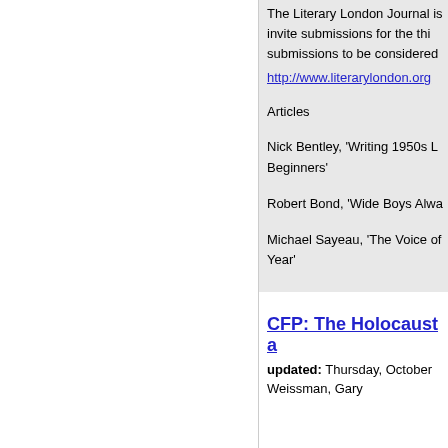The Literary London Journal is invite submissions for the thi submissions to be considered
http://www.literarylondon.org
Articles
Nick Bentley, 'Writing 1950s L Beginners'
Robert Bond, 'Wide Boys Alwa
Michael Sayeau, 'The Voice of Year'
CFP: The Holocaust a
updated: Thursday, October
Weissman, Gary